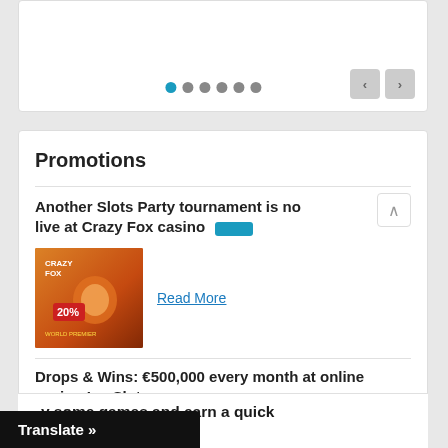[Figure (screenshot): Slider navigation dots (one active blue, five grey) and previous/next navigation buttons on a white card panel]
Promotions
Another Slots Party tournament is now live at Crazy Fox casino
[Figure (photo): Crazy Fox casino promotional image with fox character and 20% bonus text]
Read More
Drops & Wins: €500,000 every month at online casino IamSloty
[Figure (photo): IamSloty casino promotional image with 125% bonus text and blue galaxy theme]
Read More
...y some games and earn a quick ... casino Spin Pug
Translate »